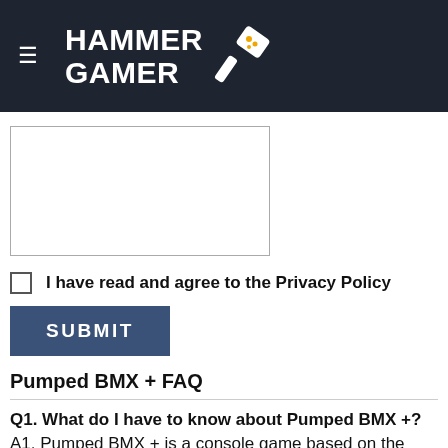HAMMER GAMER
[Figure (other): Textarea input box (form element)]
I have read and agree to the Privacy Policy
SUBMIT
Pumped BMX + FAQ
Q1. What do I have to know about Pumped BMX +?
A1. Pumped BMX + is a console game based on the mobile version (Pumped BMX). You get to ride different kinds of landscape doing BMX tricks on